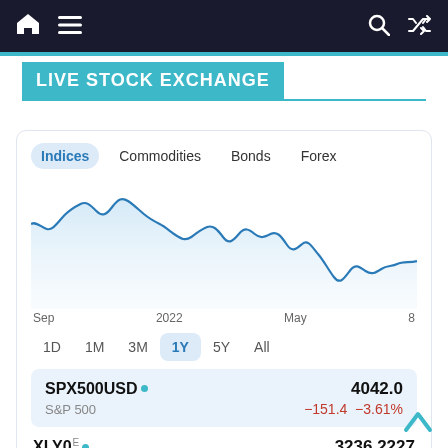Navigation bar with home, menu, search, shuffle icons
LIVE STOCK EXCHANGE
[Figure (continuous-plot): Line chart showing S&P 500 index over 1 year from Sep 2021 to May 8 2022, with a general decline from around 4600 to 4042]
| Ticker | Value | Change | % Change |
| --- | --- | --- | --- |
| SPX500USD | 4042.0 | −151.4 | −3.61% |
| XLY0 | 3236.2227 |  |  |
S&P 500